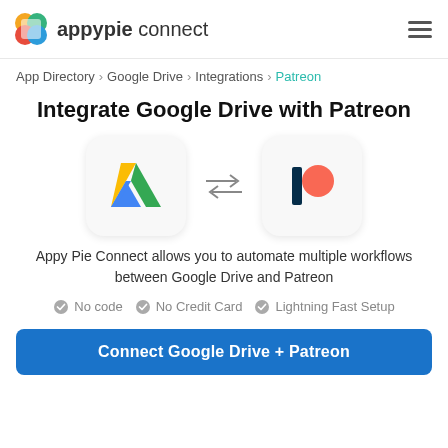appypie connect
App Directory > Google Drive > Integrations > Patreon
Integrate Google Drive with Patreon
[Figure (logo): Google Drive logo icon and Patreon logo icon with bidirectional arrows between them]
Appy Pie Connect allows you to automate multiple workflows between Google Drive and Patreon
No code
No Credit Card
Lightning Fast Setup
Connect Google Drive + Patreon